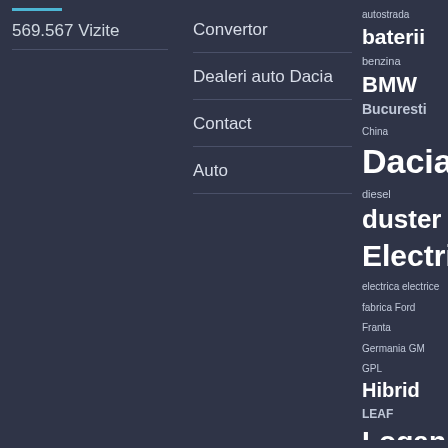[Figure (other): Short cyan/teal horizontal accent line]
569.567 Vizite
Convertor
Dealeri auto Dacia
Contact
Auto
autostrada baterii benzina BMW Bucuresti China Dacia diesel duster Electric electrica electrice fabrica Ford Franta Germania GM GPL Hibrid LEAF Logan Mediu Mercedes mioveni Model S motoare motor Nissan Peugeot Prius Renault Romania Sandra T...